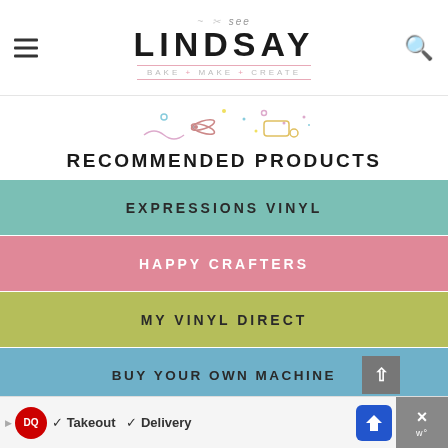see LINDSAY - BAKE + MAKE + CREATE
[Figure (illustration): Decorative scissors and dots illustration]
RECOMMENDED PRODUCTS
EXPRESSIONS VINYL
HAPPY CRAFTERS
MY VINYL DIRECT
BUY YOUR OWN MACHINE
LEARN TO USE YOUR CRICUT
[Figure (screenshot): Dairy Queen advertisement bar — Takeout and Delivery]